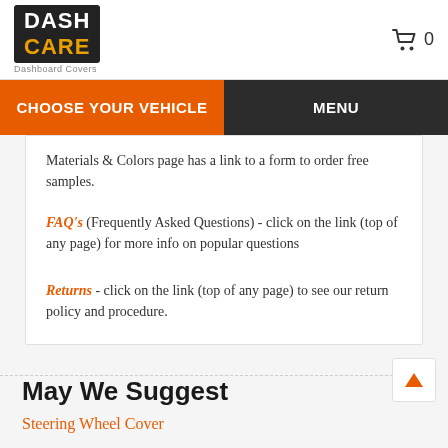DASH CARE - Dashboard Covers | Cart: 0
CHOOSE YOUR VEHICLE | MENU
Materials & Colors page has a link to a form to order free samples.
FAQ's (Frequently Asked Questions) - click on the link (top of any page) for more info on popular questions
Returns - click on the link (top of any page) to see our return policy and procedure.
May We Suggest
Steering Wheel Cover